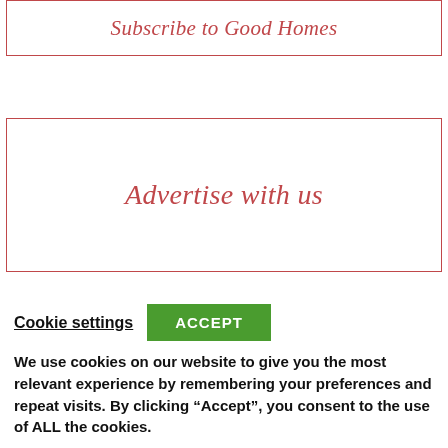Subscribe to Good Homes
Advertise with us
Search for
Cookie settings  ACCEPT  We use cookies on our website to give you the most relevant experience by remembering your preferences and repeat visits. By clicking “Accept”, you consent to the use of ALL the cookies.